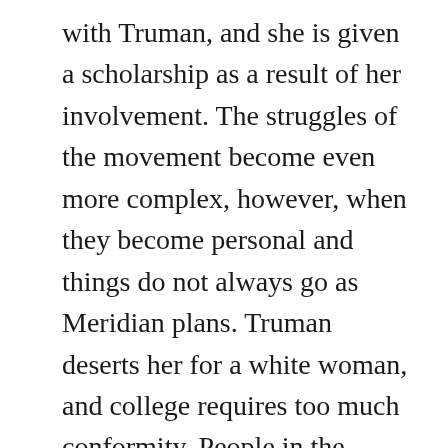with Truman, and she is given a scholarship as a result of her involvement. The struggles of the movement become even more complex, however, when they become personal and things do not always go as Meridian plans. Truman deserts her for a white woman, and college requires too much conformity. People in the movement change sides and loyalties are put into question. In some ways, Walker seems to be questioning the value of political activism throughout this book in a healthy sort of way. However, the reader considers these larger questions as a result of Meridian's experiences, not as a result of